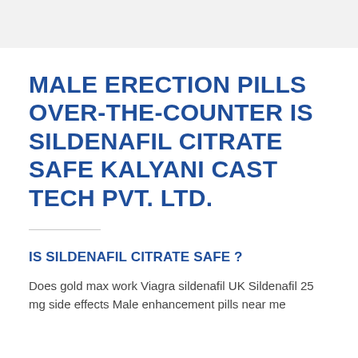MALE ERECTION PILLS OVER-THE-COUNTER IS SILDENAFIL CITRATE SAFE KALYANI CAST TECH PVT. LTD.
IS SILDENAFIL CITRATE SAFE ?
Does gold max work Viagra sildenafil UK Sildenafil 25 mg side effects Male enhancement pills near me